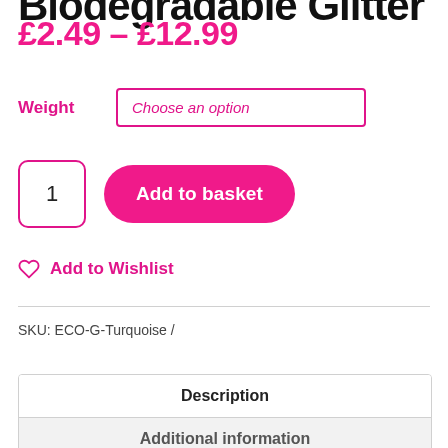Biodegradable Glitter
£2.49 – £12.99
Weight — Choose an option
1 Add to basket
Add to Wishlist
SKU: ECO-G-Turquoise /
| Tab |
| --- |
| Description |
| Additional information |